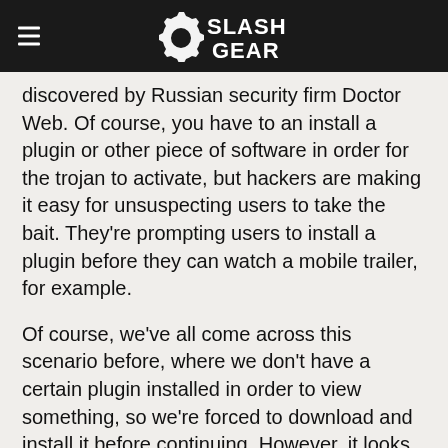SlashGear
discovered by Russian security firm Doctor Web. Of course, you have to an install a plugin or other piece of software in order for the trojan to activate, but hackers are making it easy for unsuspecting users to take the bait. They're prompting users to install a plugin before they can watch a mobile trailer, for example.
Of course, we've all come across this scenario before, where we don't have a certain plugin installed in order to view something, so we're forced to download and install it before continuing. However, it looks like criminals are taking advantage of that tradition by implementing the same kind of system in order to get users to install the trojan.